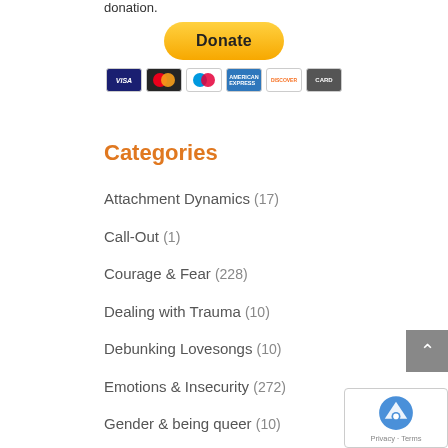donation.
[Figure (other): PayPal Donate button with payment card icons (Visa, Mastercard, Maestro, American Express, Discover, and one more)]
Categories
Attachment Dynamics (17)
Call-Out (1)
Courage & Fear (228)
Dealing with Trauma (10)
Debunking Lovesongs (10)
Emotions & Insecurity (272)
Gender & being queer (10)
Kink & BDSM (16)
Nervous System and Trauma (5)